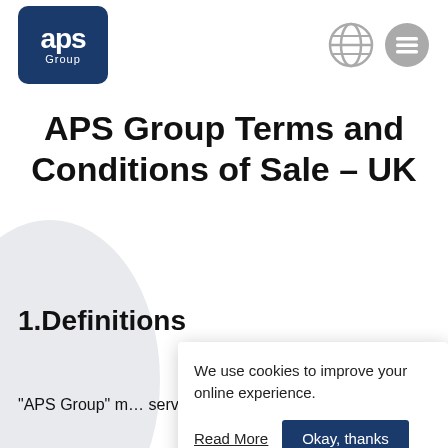[Figure (logo): APS Group logo — dark blue rounded rectangle with white text 'aps' large and 'Group' smaller below]
[Figure (other): Globe/language icon (grey outlined globe) and hamburger menu icon (grey circle with three horizontal lines)]
APS Group Terms and Conditions of Sale – UK
1.Definitions
"APS Group" m… services under these terms.
We use cookies to improve your online experience.
Read More   Okay, thanks